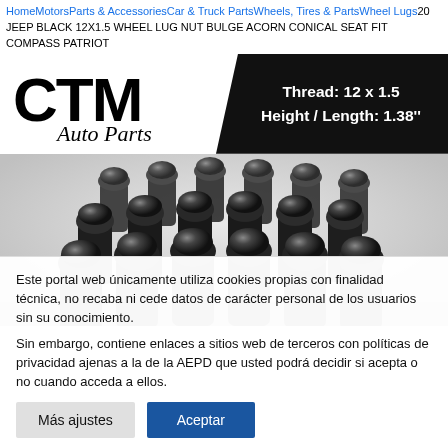Home > Motors > Parts & Accessories > Car & Truck Parts > Wheels, Tires & Parts > Wheel Lugs > 20 JEEP BLACK 12X1.5 WHEEL LUG NUT BULGE ACORN CONICAL SEAT FIT COMPASS PATRIOT
[Figure (photo): Product banner showing CTM Auto Parts logo on white background left side, and black trapezoid on right side with white bold text: Thread: 12 x 1.5, Height / Length: 1.38'']
[Figure (photo): Photo of 20 black bulge acorn conical seat wheel lug nuts arranged in a cluster, showing their rounded dome tops and hex bases, on a light grey/white background]
Este portal web únicamente utiliza cookies propias con finalidad técnica, no recaba ni cede datos de carácter personal de los usuarios sin su conocimiento.
Sin embargo, contiene enlaces a sitios web de terceros con políticas de privacidad ajenas a la de la AEPD que usted podrá decidir si acepta o no cuando acceda a ellos.